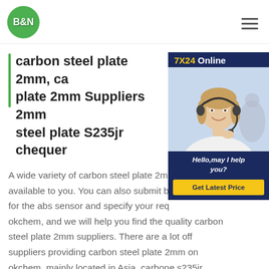B&N
[Figure (photo): Customer service representative wearing a headset, smiling, with 7X24 Online chat widget overlay including 'Hello, may I help you?' message and 'Get Latest Price' button]
carbon steel plate 2mm, carbon steel plate 2mm Suppliers 2mm steel plate S235jr chequer
A wide variety of carbon steel plate 2mm available to you. You can also submit buying request for the abs sensor and specify your requirement on okchem, and we will help you find the quality carbon steel plate 2mm suppliers. There are a lot off suppliers providing carbon steel plate 2mm on okchem, mainly located in Asia. carbone s235jr chequer en acier plaque